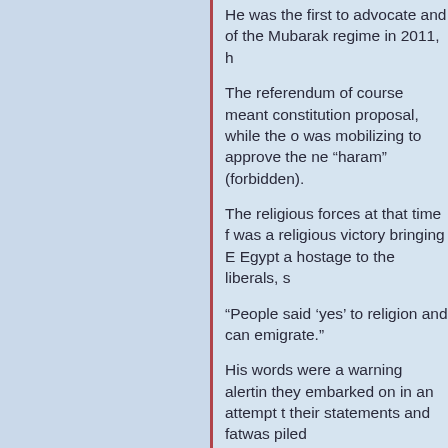He was the first to advocate and of the Mubarak regime in 2011, h
The referendum of course meant constitution proposal, while the o was mobilizing to approve the ne “haram” (forbidden).
The religious forces at that time f was a religious victory bringing E Egypt a hostage to the liberals, s
“People said ‘yes’ to religion and can emigrate.”
His words were a warning alertin they embarked on in an attempt t their statements and fatwas piled
Incitement to Jihad
Most Salafi sheikhs in Egypt stay